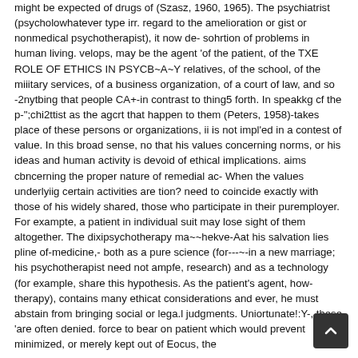might be expected of drugs of (Szasz, 1960, 1965). The psychiatrist (psycholowhatever type irr. regard to the amelioration or gist or nonmedical psychotherapist), it now de- sohrtion of problems in human living. velops, may be the agent 'of the patient, of the TXE ROLE OF ETHICS IN PSYCB~A~Y relatives, of the school, of the miiitary services, of a business organization, of a court of law, and so -2nytbing that people CA+-in contrast to thing5 forth. In speakkg cf the p-";chi2ttist as the agcrt that happen to them (Peters, 1958)-takes place of these persons or organizations, ii is not impl'ed in a contest of value. In this broad sense, no that his values concerning norms, or his ideas and human activity is devoid of ethical implications. aims cbncerning the proper nature of remedial ac- When the values underlyiig certain activities are tion? need to coincide exactly with those of his widely shared, those who participate in their puremployer. For exampte, a patient in individual suit may lose sight of them altogether. The dixipsychotherapy ma~~hekve-Aat his salvation lies pline of-medicine,- both as a pure science (for---~-in a new marriage; his psychotherapist need not ampfe, research) and as a technology (for example, share this hypothesis. As the patient's agent, how- therapy), contains many ethicat considerations and ever, he must abstain from bringing social or lega.l judgments. Uniortunate!:Y-, these 'are often denied. force to bear on patient which would prevent minimized, or merely kept out of Eocus, the